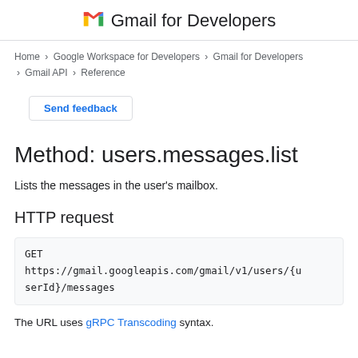Gmail for Developers
Home > Google Workspace for Developers > Gmail for Developers > Gmail API > Reference
Send feedback
Method: users.messages.list
Lists the messages in the user's mailbox.
HTTP request
GET
https://gmail.googleapis.com/gmail/v1/users/{userId}/messages
The URL uses gRPC Transcoding syntax.